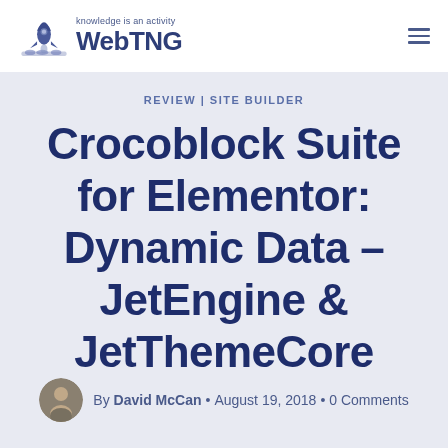WebTNG — knowledge is an activity
REVIEW | SITE BUILDER
Crocoblock Suite for Elementor: Dynamic Data – JetEngine & JetThemeCore
By David McCan • August 19, 2018 • 0 Comments